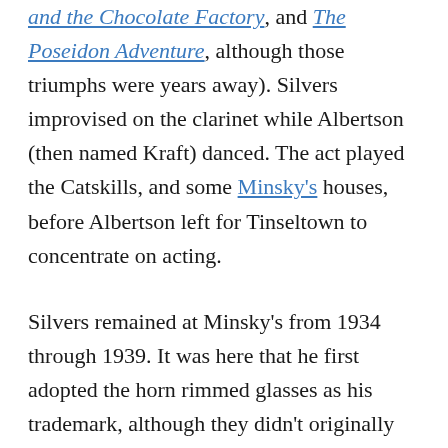and the Chocolate Factory, and The Poseidon Adventure, although those triumphs were years away). Silvers improvised on the clarinet while Albertson (then named Kraft) danced. The act played the Catskills, and some Minsky's houses, before Albertson left for Tinseltown to concentrate on acting.
Silvers remained at Minsky's from 1934 through 1939. It was here that he first adopted the horn rimmed glasses as his trademark, although they didn't originally have glass in them. Also, they were oversized, clown glasses at first, matching his comic look, but over time his associates...